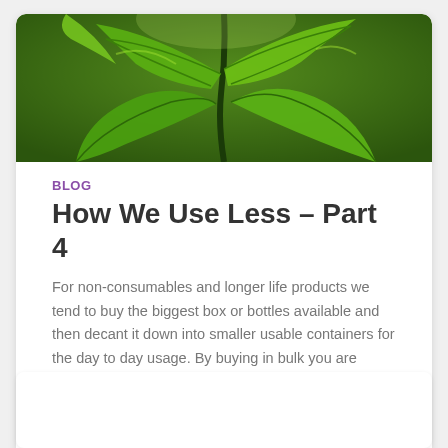[Figure (photo): Close-up photo of green leaves with bright sunlight, nature background]
BLOG
How We Use Less – Part 4
For non-consumables and longer life products we tend to buy the biggest box or bottles available and then decant it down into smaller usable containers for the day to day usage. By buying in bulk you are effectively using less packaging which is much more environmentally friendly.
By The Using Less Stuff Team, 2 years ago